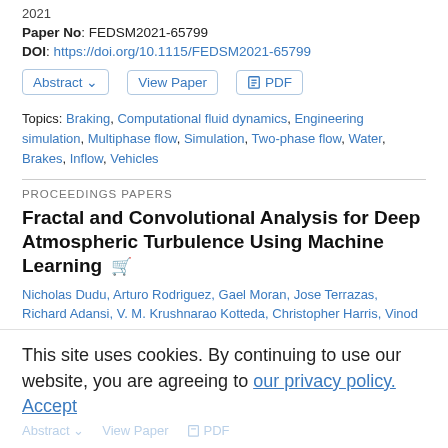2021
Paper No: FEDSM2021-65799
DOI: https://doi.org/10.1115/FEDSM2021-65799
Topics: Braking, Computational fluid dynamics, Engineering simulation, Multiphase flow, Simulation, Two-phase flow, Water, Brakes, Inflow, Vehicles
PROCEEDINGS PAPERS
Fractal and Convolutional Analysis for Deep Atmospheric Turbulence Using Machine Learning
Nicholas Dudu, Arturo Rodriguez, Gael Moran, Jose Terrazas, Richard Adansi, V. M. Krushnarao Kotteda, Christopher Harris, Vinod Kumar
Proc. ASME. FEDSM2021, Volume 1: Aerospace Engineering Division Joint Track; Computational Fluid Dynamics, V001T02A051, August 10–12, 2021
This site uses cookies. By continuing to use our website, you are agreeing to our privacy policy. Accept